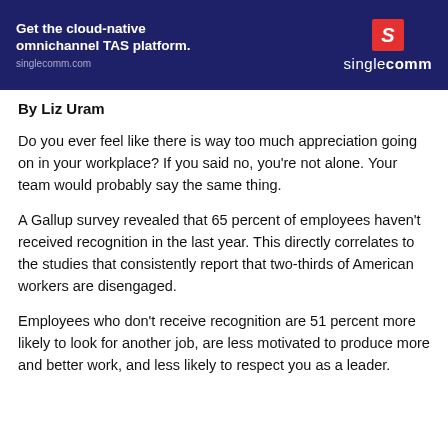[Figure (logo): Singlecomm advertisement banner: 'Get the cloud-native omnichannel TAS platform. singlecomm.com' with Singlecomm logo on dark navy background]
By Liz Uram
Do you ever feel like there is way too much appreciation going on in your workplace? If you said no, you're not alone. Your team would probably say the same thing.
A Gallup survey revealed that 65 percent of employees haven't received recognition in the last year. This directly correlates to the studies that consistently report that two-thirds of American workers are disengaged.
Employees who don't receive recognition are 51 percent more likely to look for another job, are less motivated to produce more and better work, and less likely to respect you as a leader.